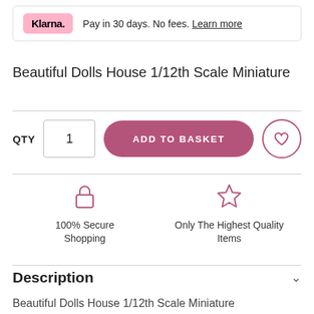Klarna. Pay in 30 days. No fees. Learn more
Beautiful Dolls House 1/12th Scale Miniature
QTY 1 ADD TO BASKET
100% Secure Shopping
Only The Highest Quality Items
Description
Beautiful Dolls House 1/12th Scale Miniature